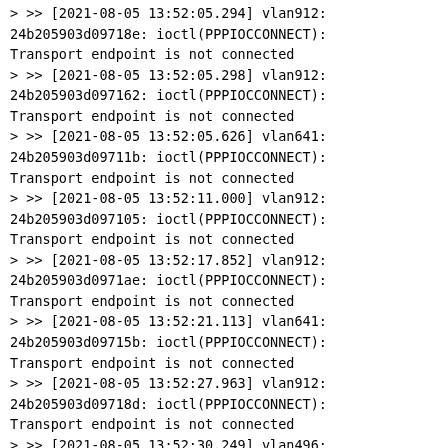> >> [2021-08-05 13:52:05.294] vlan912: 24b205903d09718e: ioctl(PPPIOCCONNECT): Transport endpoint is not connected
> >> [2021-08-05 13:52:05.298] vlan912: 24b205903d097162: ioctl(PPPIOCCONNECT): Transport endpoint is not connected
> >> [2021-08-05 13:52:05.626] vlan641: 24b205903d09711b: ioctl(PPPIOCCONNECT): Transport endpoint is not connected
> >> [2021-08-05 13:52:11.000] vlan912: 24b205903d097105: ioctl(PPPIOCCONNECT): Transport endpoint is not connected
> >> [2021-08-05 13:52:17.852] vlan912: 24b205903d0971ae: ioctl(PPPIOCCONNECT): Transport endpoint is not connected
> >> [2021-08-05 13:52:21.113] vlan641: 24b205903d09715b: ioctl(PPPIOCCONNECT): Transport endpoint is not connected
> >> [2021-08-05 13:52:27.963] vlan912: 24b205903d09718d: ioctl(PPPIOCCONNECT): Transport endpoint is not connected
> >> [2021-08-05 13:52:30.249] vlan496: 24b205903d097184: ioctl(PPPIOCCONNECT): Transport endpoint is not connected
> >> [2021-08-05 13:52:30.992] vlan420: 24b205903d09718a: ioctl(PPPIOCCONNECT): Transport endpoint is not connected
> >> [2021-08-05 13:52:33.937] vlan640: 24b205903d0971cd: ioctl(PPPIOCCONNECT): Transport endpoint is not connected